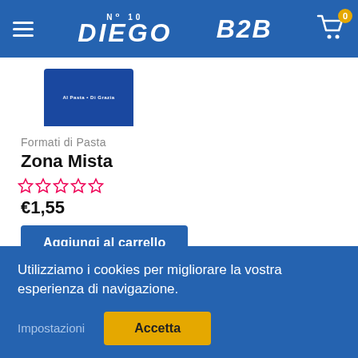No 10 DIEGO B2B
[Figure (screenshot): Product image of pasta box (blue packaging) shown partially in a white strip area]
Formati di Pasta
Zona Mista
★★★★★ (empty stars, rating)
€1,55
Aggiungi al carrello
Utilizziamo i cookies per migliorare la vostra esperienza di navigazione.
Impostazioni
Accetta